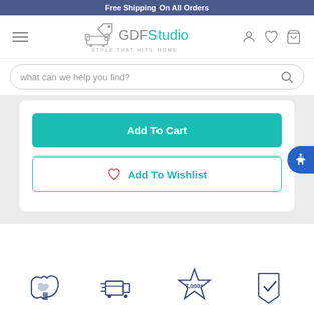Free Shipping On All Orders
[Figure (logo): GDF Studio logo with sofa icon and tagline 'STYLE THAT HITS HOME']
what can we help you find?
Add To Cart
Add To Wishlist
[Figure (illustration): Bottom row of four icons: US map/delivery, package delivery, 7,000+ star, and price tag with checkmark]